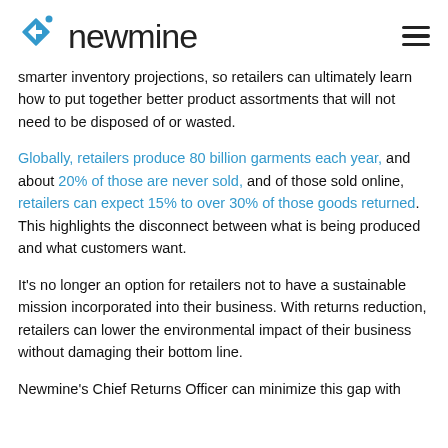newmine
smarter inventory projections, so retailers can ultimately learn how to put together better product assortments that will not need to be disposed of or wasted.
Globally, retailers produce 80 billion garments each year, and about 20% of those are never sold, and of those sold online, retailers can expect 15% to over 30% of those goods returned. This highlights the disconnect between what is being produced and what customers want.
It's no longer an option for retailers not to have a sustainable mission incorporated into their business. With returns reduction, retailers can lower the environmental impact of their business without damaging their bottom line.
Newmine's Chief Returns Officer can minimize this gap with